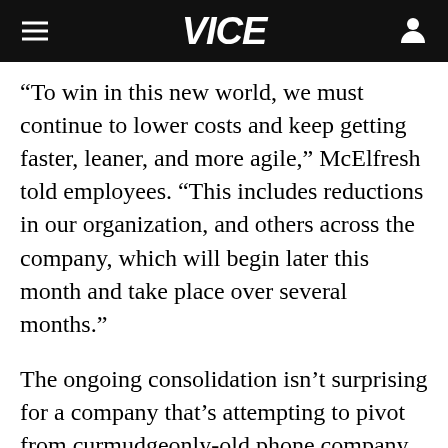VICE
“To win in this new world, we must continue to lower costs and keep getting faster, leaner, and more agile,” McElfresh told employees. “This includes reductions in our organization, and others across the company, which will begin later this month and take place over several months.”
The ongoing consolidation isn’t surprising for a company that’s attempting to pivot from curmudgeonly-old phone company to sexy new media brand via its acquisition of Time Warner. AT&T’s desperate to shed old DSL customers it